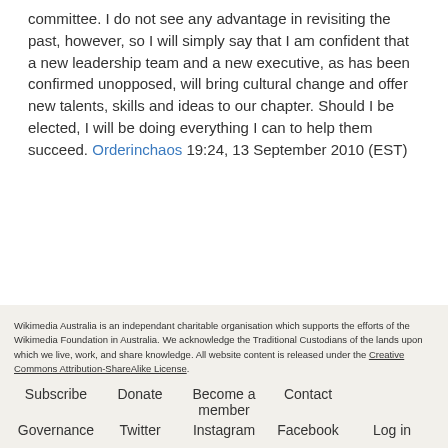committee. I do not see any advantage in revisiting the past, however, so I will simply say that I am confident that a new leadership team and a new executive, as has been confirmed unopposed, will bring cultural change and offer new talents, skills and ideas to our chapter. Should I be elected, I will be doing everything I can to help them succeed. Orderinchaos 19:24, 13 September 2010 (EST)
Wikimedia Australia is an independant charitable organisation which supports the efforts of the Wikimedia Foundation in Australia. We acknowledge the Traditional Custodians of the lands upon which we live, work, and share knowledge. All website content is released under the Creative Commons Attribution-ShareAlike License.
Subscribe | Donate | Become a member | Contact | Governance | Twitter | Instagram | Facebook | Log in